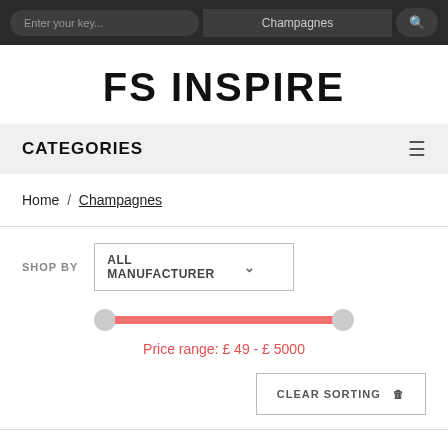Enter your key... | Champagnes | 🔍
FS INSPIRE
CATEGORIES
Home / Champagnes
SHOP BY  ALL MANUFACTURER
Price range: £ 49 - £ 5000
CLEAR SORTING 🗑